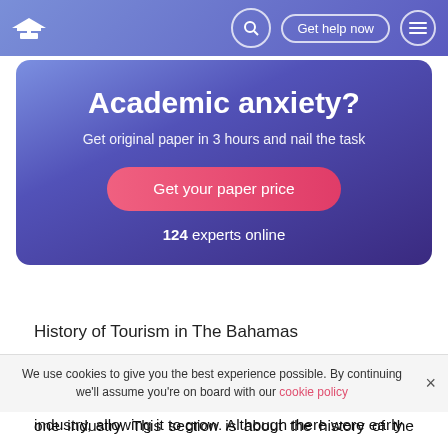Get help now
Academic anxiety?
Get original paper in 3 hours and nail the task
Get your paper price
124 experts online
History of Tourism in The Bahamas
The location, climate and beaches of the Bahamas are the major factors that led to tourism being its number one industry. This section is about the history of the Bahamas. It industry, allowing it to grow. Although there were early
We use cookies to give you the best experience possible. By continuing we'll assume you're on board with our cookie policy